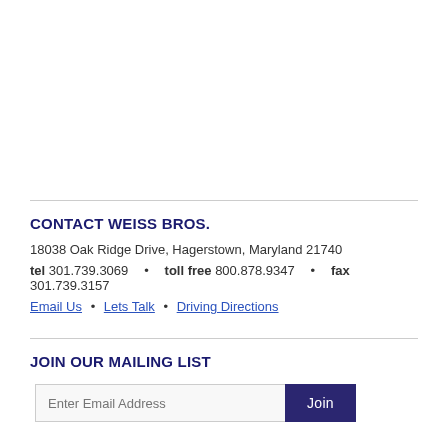CONTACT WEISS BROS.
18038 Oak Ridge Drive, Hagerstown, Maryland 21740
tel 301.739.3069  •  toll free 800.878.9347  •  fax 301.739.3157
Email Us  •  Lets Talk  •  Driving Directions
JOIN OUR MAILING LIST
Enter Email Address [Join]